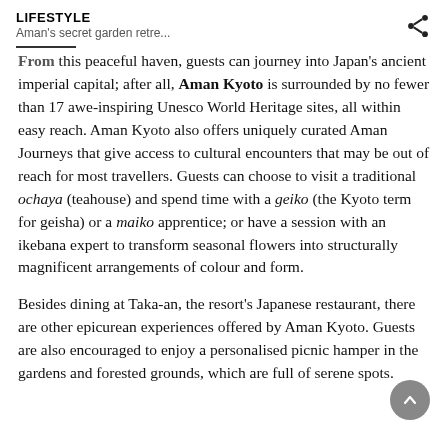LIFESTYLE
Aman's secret garden retre...
From this peaceful haven, guests can journey into Japan's ancient imperial capital; after all, Aman Kyoto is surrounded by no fewer than 17 awe-inspiring Unesco World Heritage sites, all within easy reach. Aman Kyoto also offers uniquely curated Aman Journeys that give access to cultural encounters that may be out of reach for most travellers. Guests can choose to visit a traditional ochaya (teahouse) and spend time with a geiko (the Kyoto term for geisha) or a maiko apprentice; or have a session with an ikebana expert to transform seasonal flowers into structurally magnificent arrangements of colour and form.
Besides dining at Taka-an, the resort's Japanese restaurant, there are other epicurean experiences offered by Aman Kyoto. Guests are also encouraged to enjoy a personalised picnic hamper in the gardens and forested grounds, which are full of serene spots.